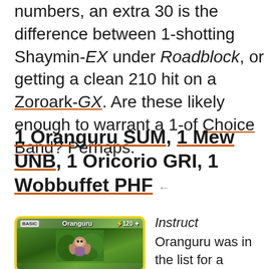numbers, an extra 30 is the difference between 1-shotting Shaymin-EX under Roadblock, or getting a clean 210 hit on a Zoroark-GX. Are these likely enough to warrant a 1-of Choice Band? Perhaps.
1 Oranguru SUM, 1 Mew UNB, 1 Oricorio GRI, 1 Wobbuffet PHF ←
[Figure (illustration): Oranguru Pokémon card with yellow border showing BASIC type, HP 120, and an image of Oranguru in a jungle background]
Instruct
Oranguru was in the list for a